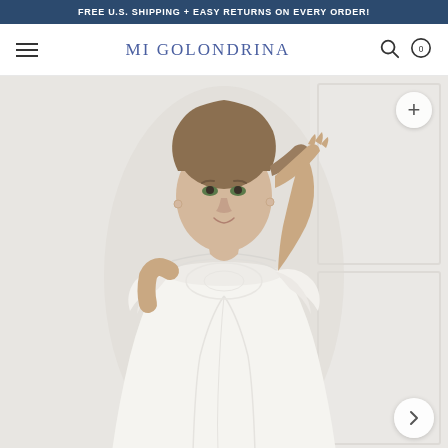FREE U.S. SHIPPING + EASY RETURNS ON EVERY ORDER!
MI GOLONDRINA
[Figure (photo): Young woman with brunette hair in an updo, wearing a white embroidered flutter-sleeve dress with smocking detail, posed against a white paneled wall background. She is touching her hair with her right hand and smiling slightly.]